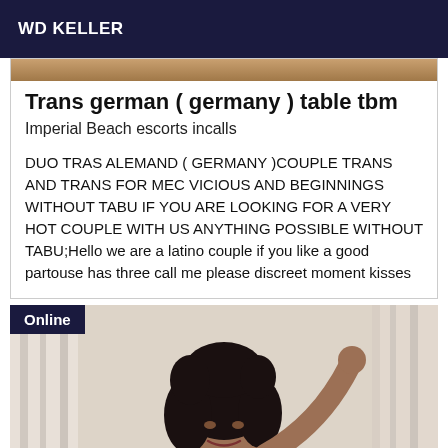WD KELLER
Trans german ( germany ) table tbm
Imperial Beach escorts incalls
DUO TRAS ALEMAND ( GERMANY )COUPLE TRANS AND TRANS FOR MEC VICIOUS AND BEGINNINGS WITHOUT TABU IF YOU ARE LOOKING FOR A VERY HOT COUPLE WITH US ANYTHING POSSIBLE WITHOUT TABU;Hello we are a latino couple if you like a good partouse has three call me please discreet moment kisses
[Figure (photo): Person with curly dark hair raising one arm, smiling, with curtains in background. Online badge shown in top-left corner.]